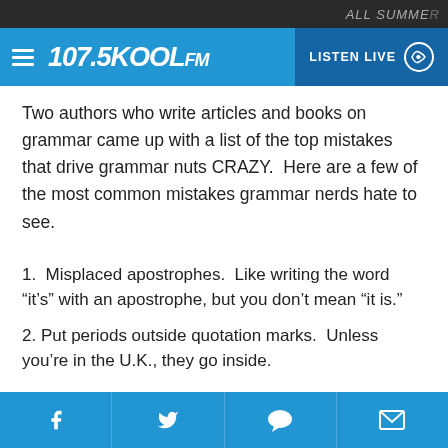ALL SUMMER
[Figure (logo): 107.5 KOOL FM radio station logo with hamburger menu icon and LISTEN LIVE button]
Two authors who write articles and books on grammar came up with a list of the top mistakes that drive grammar nuts CRAZY.  Here are a few of the most common mistakes grammar nerds hate to see.
1.  Misplaced apostrophes.  Like writing the word “it’s” with an apostrophe, but you don’t mean “it is.”
2. Put periods outside quotation marks.  Unless you’re in the U.K., they go inside.
Social share buttons: Facebook, Twitter, Comment, Email